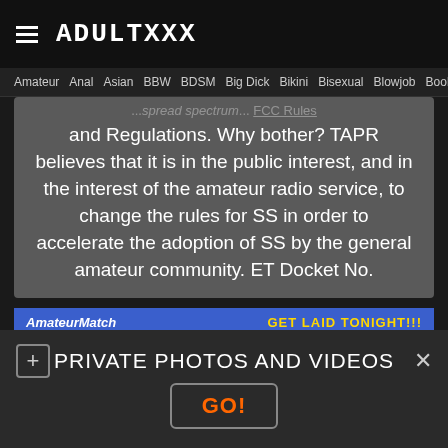ADULTXXX
Amateur  Anal  Asian  BBW  BDSM  Big Dick  Bikini  Bisexual  Blowjob  Boobs
and Regulations. Why bother? TAPR believes that it is in the public interest, and in the interest of the amateur radio service, to change the rules for SS in order to accelerate the adoption of SS by the general amateur community. ET Docket No.
[Figure (screenshot): AmateurMatch advertisement banner with 'GET LAID TONIGHT!!!' text and three photo cells showing women aged 28, 23, and 22 with captions about Group Sex, Naughty Fun, and Relationship]
PRIVATE PHOTOS AND VIDEOS
GO!